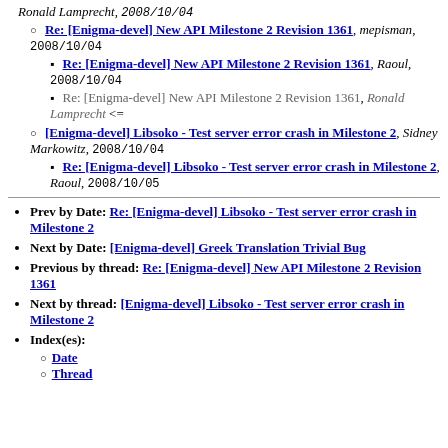Ronald Lamprecht, 2008/10/04
Re: [Enigma-devel] New API Milestone 2 Revision 1361, mepisman, 2008/10/04
Re: [Enigma-devel] New API Milestone 2 Revision 1361, Raoul, 2008/10/04
Re: [Enigma-devel] New API Milestone 2 Revision 1361, Ronald Lamprecht <=
[Enigma-devel] Libsoko - Test server error crash in Milestone 2, Sidney Markowitz, 2008/10/04
Re: [Enigma-devel] Libsoko - Test server error crash in Milestone 2, Raoul, 2008/10/05
Prev by Date: Re: [Enigma-devel] Libsoko - Test server error crash in Milestone 2
Next by Date: [Enigma-devel] Greek Translation Trivial Bug
Previous by thread: Re: [Enigma-devel] New API Milestone 2 Revision 1361
Next by thread: [Enigma-devel] Libsoko - Test server error crash in Milestone 2
Index(es):
Date
Thread